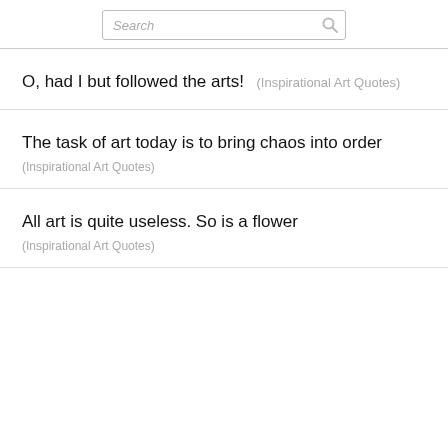Search
O, had I but followed the arts! (Inspirational Art Quotes)
The task of art today is to bring chaos into order (Inspirational Art Quotes)
All art is quite useless. So is a flower (Inspirational Art Quotes)